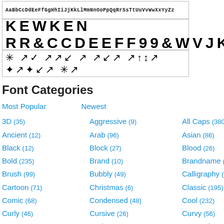[Figure (illustration): Three rows of font sample previews showing different typefaces: a bold monospace/blackletter row, a large bold impact-style row, and a dingbats/symbols row, all inside a bordered box.]
Font Categories
Most Popular
Newest
3D (35)
Aggressive (9)
All Caps (380)
Ancient (12)
Arab (96)
Asian (86)
Black (12)
Block (27)
Blood (26)
Bold (235)
Brand (10)
Brandname (30)
Brush (99)
Bubbly (49)
Calligraphy (32)
Cartoon (71)
Christmas (6)
Classic (195)
Comic (68)
Condensed (48)
Cool (232)
Curly (46)
Cursive (26)
Curvy (56)
Cute (81)
Dark (139)
Decorative (220)
Dingbats (120)
Dingfonts (38)
Distressed (81)